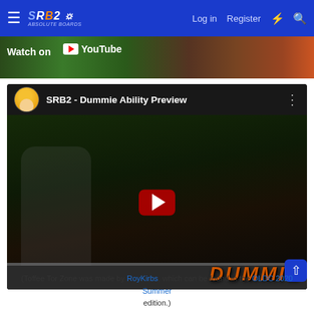SRB2 Absolute Boards — Log in  Register
[Figure (screenshot): Partial YouTube video banner strip showing 'Watch on YouTube' with a game scene thumbnail]
[Figure (screenshot): Embedded YouTube video card titled 'SRB2 - Dummie Ability Preview' with a channel avatar, video thumbnail showing the Dummie character in a game level, and a red play button in the center]
(Toffee Tor Zone was made by RoyKirbs, which can be found in the OLDC 2020 Summer edition.)